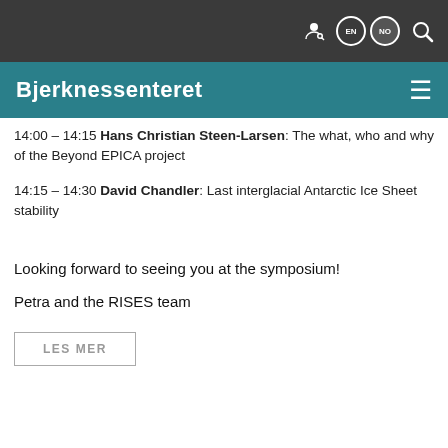Bjerknessenteret
14:00 – 14:15 Hans Christian Steen-Larsen: The what, who and why of the Beyond EPICA project
14:15 – 14:30 David Chandler: Last interglacial Antarctic Ice Sheet stability
Looking forward to seeing you at the symposium!
Petra and the RISES team
LES MER